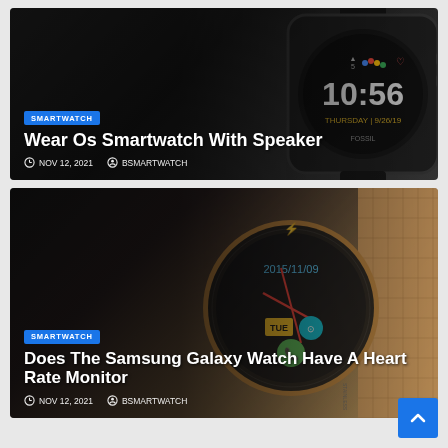[Figure (photo): Card 1: Fossil Wear OS smartwatch with dark face showing time 10:56, Thursday 9/26/19, with Google Assistant and heart rate icons. Badge 'SMARTWATCH' in blue. Title 'Wear Os Smartwatch With Speaker'. Meta: NOV 12, 2021 / BSMARTWATCH.]
Wear Os Smartwatch With Speaker
NOV 12, 2021  BSMARTWATCH
[Figure (photo): Card 2: Samsung Galaxy Watch in rose gold with mesh band. Watch face shows 2015/11/09, TUE, with app icons. Badge 'SMARTWATCH' in blue. Title 'Does The Samsung Galaxy Watch Have A Heart Rate Monitor'. Meta: NOV 12, 2021 / BSMARTWATCH.]
Does The Samsung Galaxy Watch Have A Heart Rate Monitor
NOV 12, 2021  BSMARTWATCH